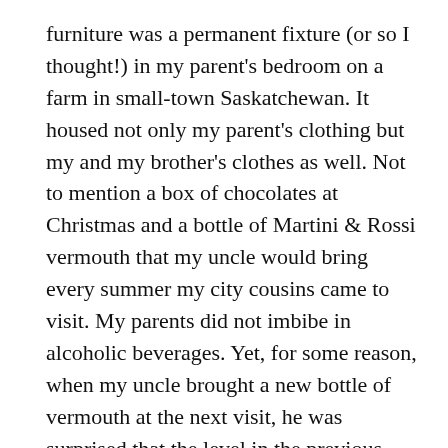furniture was a permanent fixture (or so I thought!) in my parent's bedroom on a farm in small-town Saskatchewan. It housed not only my parent's clothing but my and my brother's clothes as well. Not to mention a box of chocolates at Christmas and a bottle of Martini & Rossi vermouth that my uncle would bring every summer my city cousins came to visit. My parents did not imbibe in alcoholic beverages. Yet, for some reason, when my uncle brought a new bottle of vermouth at the next visit, he was surprised that the level in the previous bottle had not dropped.
When my parents moved to town, the old wardrobe did not find its way to their new